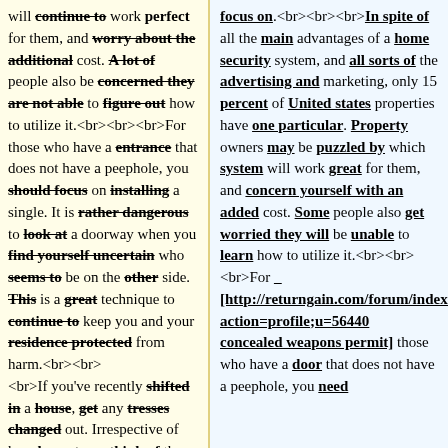will continue to work perfect for them, and worry about the additional cost. A lot of people also be concerned they are not able to figure out how to utilize it.<br><br><br>For those who have a entrance that does not have a peephole, you should focus on installing a single. It is rather dangerous to look at a doorway when you find yourself uncertain who seems to be on the other side. This is a great technique to continue to keep you and your residence protected from harm.<br><br><br>If you've recently shifted in a house, get any tresses changed out. Irrespective of how honest you think of the
focus on.<br><br><br>In spite of all the main advantages of a home security system, and all sorts of the advertising and marketing, only 15 percent of United states properties have one particular. Property owners may be puzzled by which system will work great for them, and concern yourself with an added cost. Some people also get worried they will be unable to learn how to utilize it.<br><br><br>For [http://returngain.com/forum/index.php?action=profile;u=56440 concealed weapons permit] those who have a door that does not have a peephole, you need